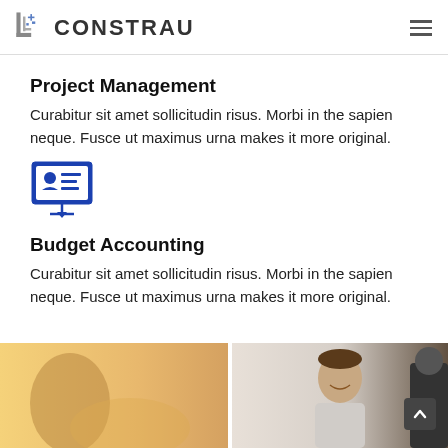CONSTRAU
Project Management
Curabitur sit amet sollicitudin risus. Morbi in the sapien neque. Fusce ut maximus urna makes it more original.
[Figure (illustration): Blue icon of a presentation board with a person silhouette and text lines, on a stand with a small arrow below]
Budget Accounting
Curabitur sit amet sollicitudin risus. Morbi in the sapien neque. Fusce ut maximus urna makes it more original.
[Figure (photo): Split photo: left side shows a blurred person holding something bright, right side shows a smiling man in a light background with a dark figure partially visible on the far right]